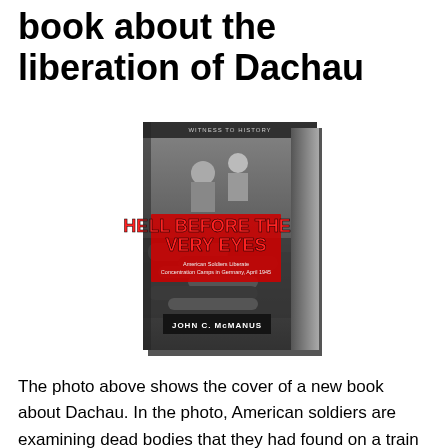book about the liberation of Dachau
[Figure (photo): Book cover of 'Hell Before Their Very Eyes: American Soldiers Liberate Concentration Camps in Germany, April 1945' by John C. McManus, showing American soldiers examining dead bodies near a train, black and white photo with red title text.]
The photo above shows the cover of a new book about Dachau. In the photo, American soldiers are examining dead bodies that they had found on a train that was parked on a railroad track just outside the Dachau